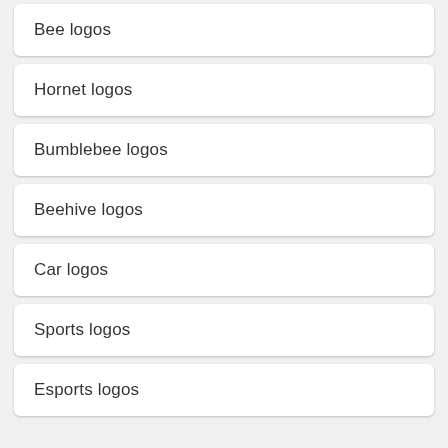Bee logos
Hornet logos
Bumblebee logos
Beehive logos
Car logos
Sports logos
Esports logos